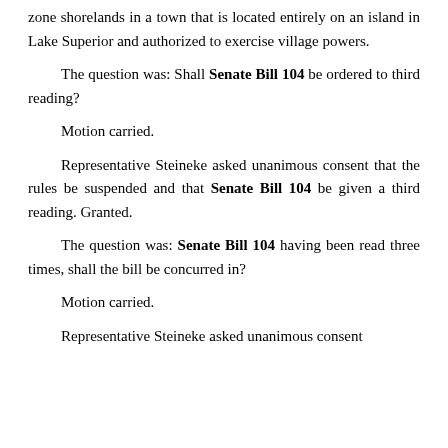zone shorelands in a town that is located entirely on an island in Lake Superior and authorized to exercise village powers.
The question was: Shall Senate Bill 104 be ordered to third reading?
Motion carried.
Representative Steineke asked unanimous consent that the rules be suspended and that Senate Bill 104 be given a third reading. Granted.
The question was: Senate Bill 104 having been read three times, shall the bill be concurred in?
Motion carried.
Representative Steineke asked unanimous consent that the rules be suspended and that Senate Bill 104 be given a